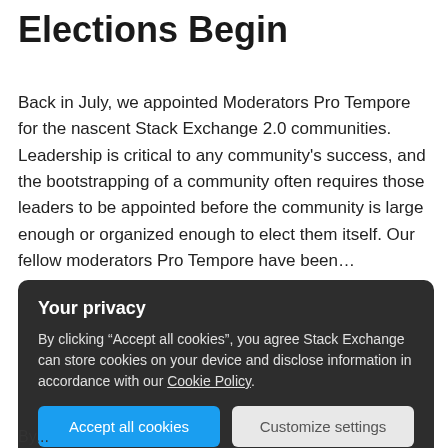Elections Begin
Back in July, we appointed Moderators Pro Tempore for the nascent Stack Exchange 2.0 communities. Leadership is critical to any community's success, and the bootstrapping of a community often requires those leaders to be appointed before the community is large enough or organized enough to elect them itself. Our fellow moderators Pro Tempore have been…
Jeff Atwood
Co-Founder (Former)
Your privacy
By clicking “Accept all cookies”, you agree Stack Exchange can store cookies on your device and disclose information in accordance with our Cookie Policy.
Accept all cookies   Customize settings
By...